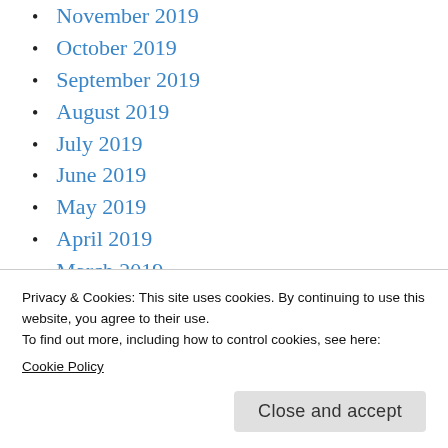November 2019
October 2019
September 2019
August 2019
July 2019
June 2019
May 2019
April 2019
March 2019
February 2019
January 2019
Privacy & Cookies: This site uses cookies. By continuing to use this website, you agree to their use.
To find out more, including how to control cookies, see here: Cookie Policy
August 2018